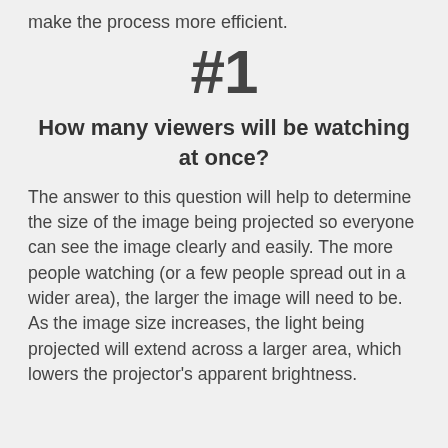make the process more efficient.
#1
How many viewers will be watching at once?
The answer to this question will help to determine the size of the image being projected so everyone can see the image clearly and easily. The more people watching (or a few people spread out in a wider area), the larger the image will need to be. As the image size increases, the light being projected will extend across a larger area, which lowers the projector's apparent brightness.